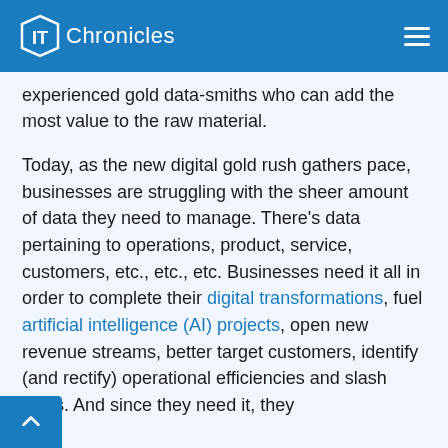IT Chronicles
experienced gold data-smiths who can add the most value to the raw material.
Today, as the new digital gold rush gathers pace, businesses are struggling with the sheer amount of data they need to manage. There’s data pertaining to operations, product, service, customers, etc., etc., etc. Businesses need it all in order to complete their digital transformations, fuel artificial intelligence (AI) projects, open new revenue streams, better target customers, identify (and rectify) operational efficiencies and slash costs. And since they need it, they